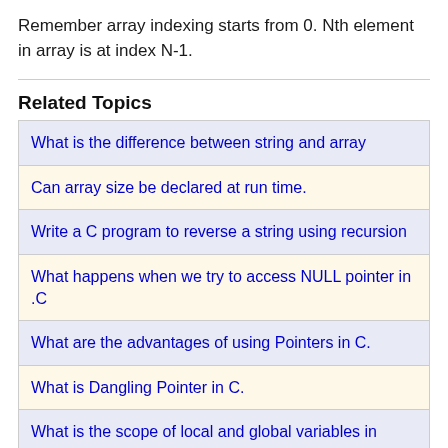Remember array indexing starts from 0. Nth element in array is at index N-1.
Related Topics
| What is the difference between string and array |
| Can array size be declared at run time. |
| Write a C program to reverse a string using recursion |
| What happens when we try to access NULL pointer in .C |
| What are the advantages of using Pointers in C. |
| What is Dangling Pointer in C. |
| What is the scope of local and global variables in |